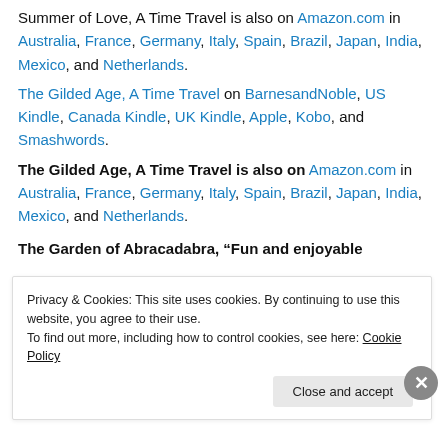Summer of Love, A Time Travel is also on Amazon.com in Australia, France, Germany, Italy, Spain, Brazil, Japan, India, Mexico, and Netherlands.
The Gilded Age, A Time Travel on BarnesandNoble, US Kindle, Canada Kindle, UK Kindle, Apple, Kobo, and Smashwords.
The Gilded Age, A Time Travel is also on Amazon.com in Australia, France, Germany, Italy, Spain, Brazil, Japan, India, Mexico, and Netherlands.
The Garden of Abracadabra, “Fun and enjoyable
Privacy & Cookies: This site uses cookies. By continuing to use this website, you agree to their use. To find out more, including how to control cookies, see here: Cookie Policy
Close and accept